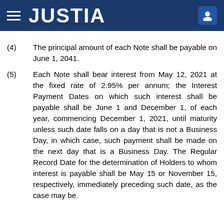JUSTIA
(4) The principal amount of each Note shall be payable on June 1, 2041.
(5) Each Note shall bear interest from May 12, 2021 at the fixed rate of 2.95% per annum; the Interest Payment Dates on which such interest shall be payable shall be June 1 and December 1, of each year, commencing December 1, 2021, until maturity unless such date falls on a day that is not a Business Day, in which case, such payment shall be made on the next day that is a Business Day. The Regular Record Date for the determination of Holders to whom interest is payable shall be May 15 or November 15, respectively, immediately preceding such date, as the case may be.